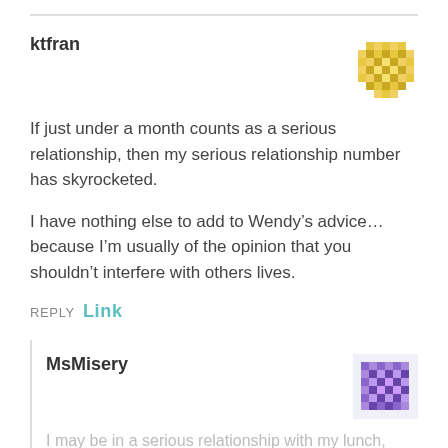ktfran
[Figure (illustration): Yellow geometric pixel/mosaic avatar for user ktfran]
If just under a month counts as a serious relationship, then my serious relationship number has skyrocketed.
I have nothing else to add to Wendy’s advice… because I’m usually of the opinion that you shouldn’t interfere with others lives.
REPLY Link
MsMisery
[Figure (illustration): Purple geometric pixel/mosaic avatar for user MsMisery]
I may be in a serious relationship with my lunch, according to this LW...